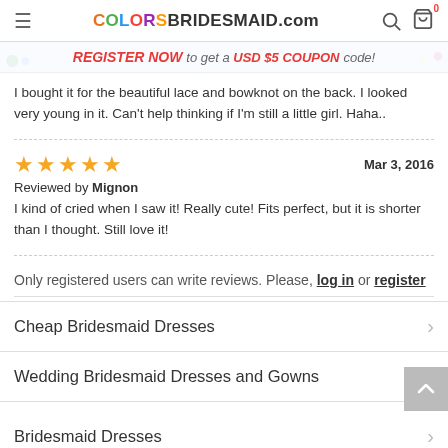COLORSBRIDESMAID.com
[Figure (screenshot): Promotional banner: REGISTER NOW to get a USD $5 COUPON code!]
I bought it for the beautiful lace and bowknot on the back. I looked very young in it. Can't help thinking if I'm still a little girl. Haha..
★★★★★  Mar 3, 2016
Reviewed by Mignon
I kind of cried when I saw it! Really cute! Fits perfect, but it is shorter than I thought. Still love it!
Only registered users can write reviews. Please, log in or register
Cheap Bridesmaid Dresses
Wedding Bridesmaid Dresses and Gowns
Bridesmaid Dresses
Bridal S...